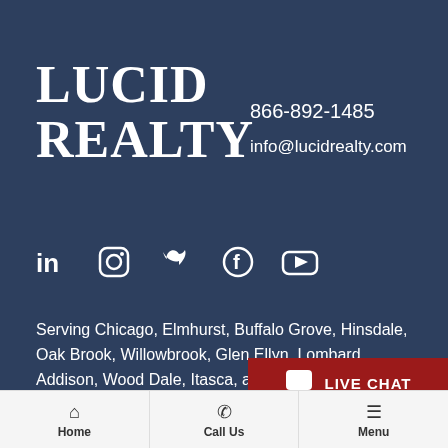LUCID REALTY
866-892-1485
info@lucidrealty.com
[Figure (infographic): Social media icons: LinkedIn, Instagram, Twitter, Facebook, YouTube]
Serving Chicago, Elmhurst, Buffalo Grove, Hinsdale, Oak Brook, Willowbrook, Glen Ellyn, Lombard, Addison, Wood Dale, Itasca, and Other Chicago Suburban Cook and Lake Counties.
[Figure (other): Live Chat button with speech bubble icon]
Home | Call Us | Menu